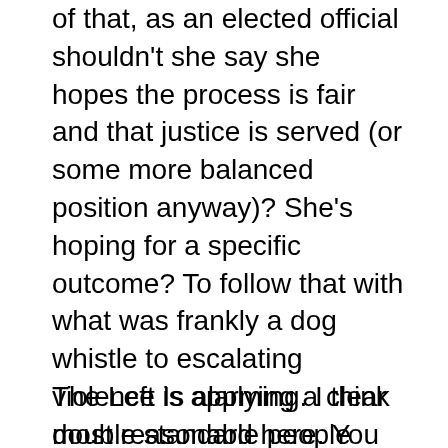of that, as an elected official shouldn't she say she hopes the process is fair and that justice is served (or some more balanced position anyway)? She's hoping for a specific outcome? To follow that with what was frankly a dog whistle to escalating violence Is alarming. I think most reasonable people would interpret that as a veiled threat to the jury, if they don't deliver a guilty (guilty, guilty, guilty) verdict they will have any future violence on their hands. That is not how our legal system is supposed to work. That thing she (Waters) swore to uphold and defend...
The Left is applying a clear double standard here. You can't (without being a total hypocrite) say that